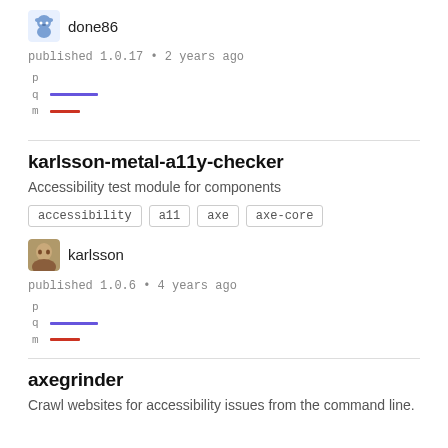[Figure (illustration): Avatar icon of user done86 (cartoon bear-like character)]
done86
published 1.0.17 • 2 years ago
[Figure (infographic): p q m rows with colored lines: q has purple line, m has red line]
karlsson-metal-a11y-checker
Accessibility test module for components
accessibility    a11    axe    axe-core
[Figure (photo): Avatar photo of user karlsson]
karlsson
published 1.0.6 • 4 years ago
[Figure (infographic): p q m rows with colored lines: q has purple line, m has red line]
axegrinder
Crawl websites for accessibility issues from the command line.